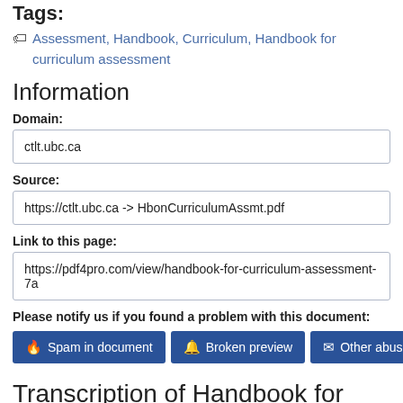Tags:
Assessment, Handbook, Curriculum, Handbook for curriculum assessment
Information
Domain:
ctlt.ubc.ca
Source:
https://ctlt.ubc.ca -> HbonCurriculumAssmt.pdf
Link to this page:
https://pdf4pro.com/view/handbook-for-curriculum-assessment-7a
Please notify us if you found a problem with this document:
Spam in document  Broken preview  Other abuse
Transcription of Handbook for Curriculum Assessment